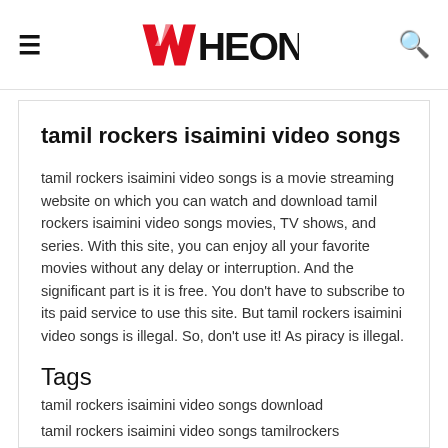≡  WHEON  🔍
tamil rockers isaimini video songs
tamil rockers isaimini video songs is a movie streaming website on which you can watch and download tamil rockers isaimini video songs movies, TV shows, and series. With this site, you can enjoy all your favorite movies without any delay or interruption. And the significant part is it is free. You don't have to subscribe to its paid service to use this site. But tamil rockers isaimini video songs is illegal. So, don't use it! As piracy is illegal.
Tags
tamil rockers isaimini video songs download
tamil rockers isaimini video songs tamilrockers